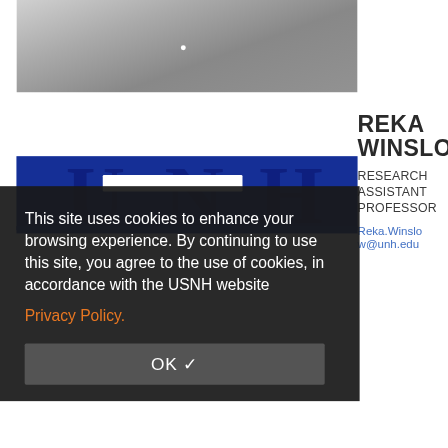[Figure (photo): Grayscale photo of a person wearing a light gray button-up shirt, cropped to show torso/chest area with a small white button visible.]
REKA WINSLOW
RESEARCH ASSISTANT PROFESSOR
Reka.Winslow@unh.edu
[Figure (photo): UNH (University of New Hampshire) branded blue background with dark UNH letters watermark and a white search bar.]
This site uses cookies to enhance your browsing experience. By continuing to use this site, you agree to the use of cookies, in accordance with the USNH website
Privacy Policy.
OK ✓